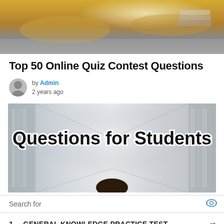[Figure (photo): Person in yellow top sitting at a desk with books, viewed from above, blurred/cropped]
Top 50 Online Quiz Contest Questions
by Admin
2 years ago
[Figure (photo): Banner image showing library/school hallway with student face down and text 'Questions for Students' in bold black with white outline]
Search for
1. GENERAL KNOWLEDGE PRACTICE TEST
2. ASVAB STUDY GUIDES
Ad | Business Focus